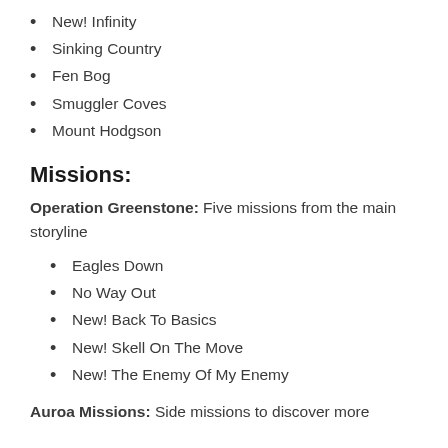New! Infinity
Sinking Country
Fen Bog
Smuggler Coves
Mount Hodgson
Missions:
Operation Greenstone: Five missions from the main storyline
Eagles Down
No Way Out
New! Back To Basics
New! Skell On The Move
New! The Enemy Of My Enemy
Auroa Missions: Side missions to discover more